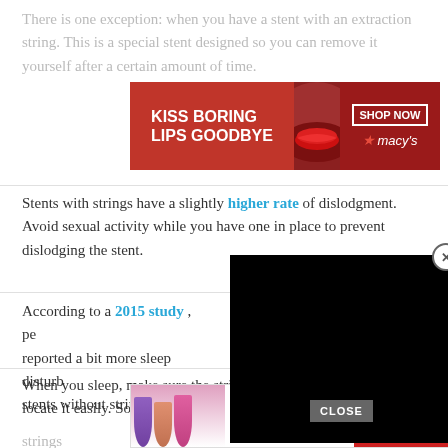There is one exception: when you have a stent with an extraction string. This is a special stent designed so you can remove it yourself after a certain amount of time.
[Figure (screenshot): Macy's lipstick advertisement banner: 'KISS BORING LIPS GOODBYE' with SHOP NOW button and Macy's star logo]
Stents with strings have a slightly higher rate of dislodgment. Avoid sexual activity while you have one in place to prevent dislodging the stent.
According to a 2015 study , people with stents with strings reported a bit more sleep disturbances than people with stents without strings.
[Figure (screenshot): Black video player overlay with close (X) button in top-right corner]
When you sleep, make sure the string is in a place where you can locate it easily. Sometimes, your doctor will tuck the strings
[Figure (screenshot): MAC Cosmetics advertisement banner with colorful lipsticks and SHOP NOW button, with CLOSE button overlay]